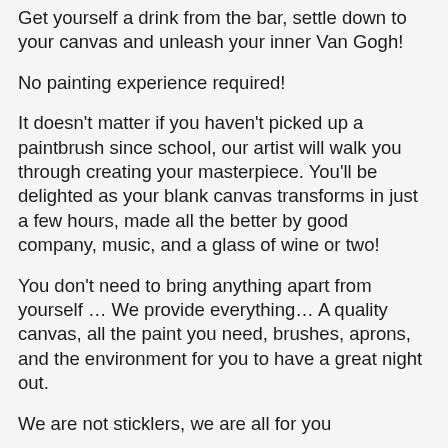Get yourself a drink from the bar, settle down to your canvas and unleash your inner Van Gogh!
No painting experience required!
It doesn't matter if you haven't picked up a paintbrush since school, our artist will walk you through creating your masterpiece. You'll be delighted as your blank canvas transforms in just a few hours, made all the better by good company, music, and a glass of wine or two!
You don't need to bring anything apart from yourself … We provide everything… A quality canvas, all the paint you need, brushes, aprons, and the environment for you to have a great night out.
We are not sticklers, we are all for you